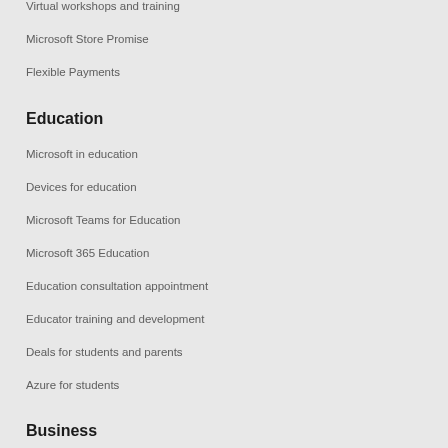Virtual workshops and training
Microsoft Store Promise
Flexible Payments
Education
Microsoft in education
Devices for education
Microsoft Teams for Education
Microsoft 365 Education
Education consultation appointment
Educator training and development
Deals for students and parents
Azure for students
Business